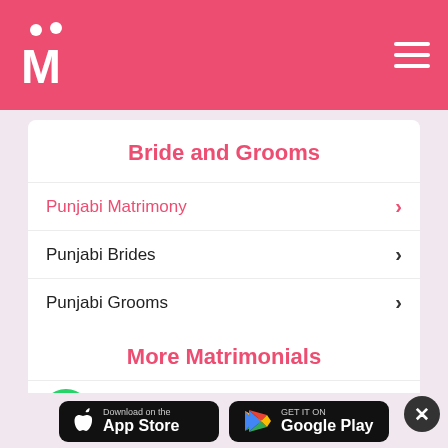Matrimony app header with logo and hamburger menu
Bride and Grooms
Punjabi Matrimony
Punjabi Brides
Punjabi Grooms
More Matrimonials
Matrimony in Canada
[Figure (logo): Download on the App Store button]
[Figure (logo): Get it on Google Play button]